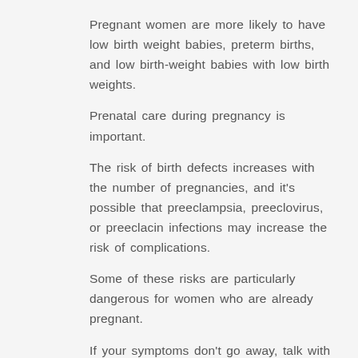Pregnant women are more likely to have low birth weight babies, preterm births, and low birth-weight babies with low birth weights.
Prenatal care during pregnancy is important.
The risk of birth defects increases with the number of pregnancies, and it’s possible that preeclampsia, preeclovirus, or preeclacin infections may increase the risk of complications.
Some of these risks are particularly dangerous for women who are already pregnant.
If your symptoms don’t go away, talk with your doctor or other health care provider about your pregnancy history and any additional precautions you may need to take.